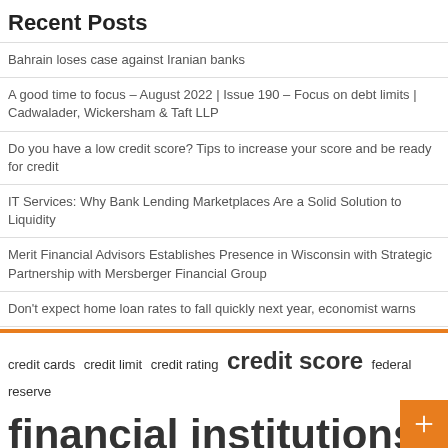Recent Posts
Bahrain loses case against Iranian banks
A good time to focus – August 2022 | Issue 190 – Focus on debt limits | Cadwalader, Wickersham & Taft LLP
Do you have a low credit score? Tips to increase your score and be ready for credit
IT Services: Why Bank Lending Marketplaces Are a Solid Solution to Liquidity
Merit Financial Advisors Establishes Presence in Wisconsin with Strategic Partnership with Mersberger Financial Group
Don't expect home loan rates to fall quickly next year, economist warns
credit cards  credit limit  credit rating  credit score  federal reserve  financial institutions  financial services  fixed rate  interest rates  long term  monthly payments